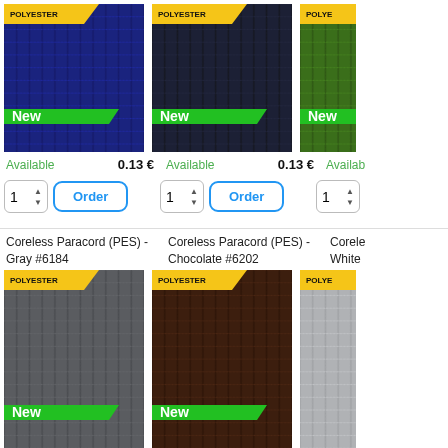[Figure (photo): Coreless Paracord PES navy blue fabric swatch with POLYESTER badge and New ribbon]
Available   0.13 €
1  Order
[Figure (photo): Coreless Paracord PES dark navy fabric swatch with POLYESTER badge and New ribbon]
Available   0.13 €
1  Order
[Figure (photo): Coreless Paracord PES green fabric swatch with POLYESTER badge and New ribbon (partially visible)]
Available
Coreless Paracord (PES) - Gray #6184
[Figure (photo): Gray fabric swatch with POLYESTER badge and partial New ribbon]
Coreless Paracord (PES) - Chocolate #6202
[Figure (photo): Chocolate brown fabric swatch with POLYESTER badge and partial New ribbon]
Coreless Paracord (PES) - White (partially visible)
[Figure (photo): Light gray/white fabric swatch with POLYESTER badge (partially visible)]